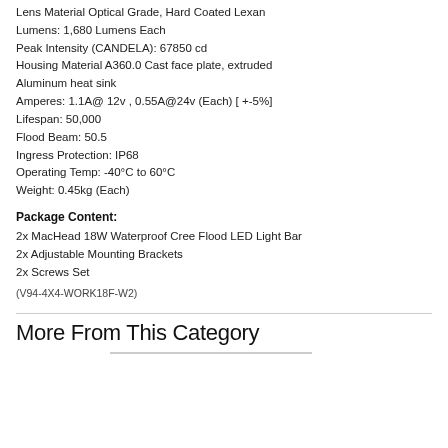Lens Material Optical Grade, Hard Coated Lexan
Lumens: 1,680 Lumens Each
Peak Intensity (CANDELA): 67850 cd
Housing Material A360.0 Cast face plate, extruded Aluminum heat sink
Amperes: 1.1A@ 12v , 0.55A@24v (Each) [ +-5%]
Lifespan: 50,000
Flood Beam: 50.5
Ingress Protection: IP68
Operating Temp: -40°C to 60°C
Weight: 0.45kg (Each)
Package Content:
2x MacHead 18W Waterproof Cree Flood LED Light Bar
2x Adjustable Mounting Brackets
2x Screws Set
(V94-4X4-WORK18F-W2)
More From This Category